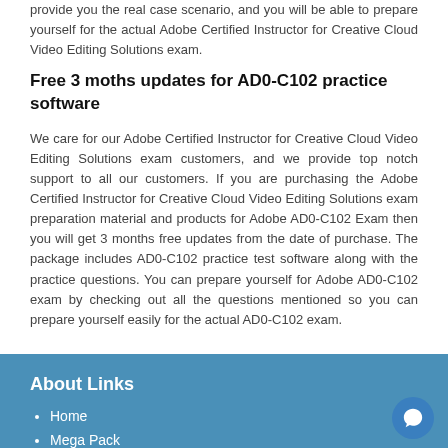provide you the real case scenario, and you will be able to prepare yourself for the actual Adobe Certified Instructor for Creative Cloud Video Editing Solutions exam.
Free 3 moths updates for AD0-C102 practice software
We care for our Adobe Certified Instructor for Creative Cloud Video Editing Solutions exam customers, and we provide top notch support to all our customers. If you are purchasing the Adobe Certified Instructor for Creative Cloud Video Editing Solutions exam preparation material and products for Adobe AD0-C102 Exam then you will get 3 months free updates from the date of purchase. The package includes AD0-C102 practice test software along with the practice questions. You can prepare yourself for Adobe AD0-C102 exam by checking out all the questions mentioned so you can prepare yourself easily for the actual AD0-C102 exam.
About Links
Home
Mega Pack